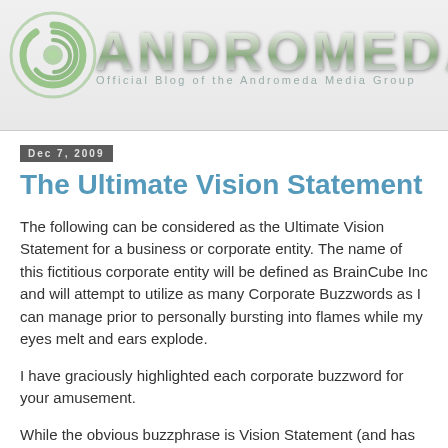[Figure (logo): Andromeda Media Group logo with green swirl icon and stylized ANDROMEDA text, tagline: Official Blog of the Andromeda Media Group]
Dec 7, 2009
The Ultimate Vision Statement
The following can be considered as the Ultimate Vision Statement for a business or corporate entity. The name of this fictitious corporate entity will be defined as BrainCube Inc and will attempt to utilize as many Corporate Buzzwords as I can manage prior to personally bursting into flames while my eyes melt and ears explode.
I have graciously highlighted each corporate buzzword for your amusement.
While the obvious buzzphrase is Vision Statement (and has been highlighted), the company name itself, BrainCube Inc, was chosen at random via an online Web 2.0 Name